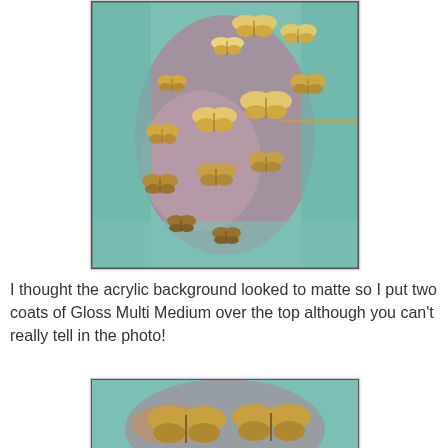[Figure (photo): A painting on canvas featuring gold butterfly cutouts scattered across a textured background blending teal/mint, purple, and pink acrylic tones. The butterflies range in size and appear to float upward across the canvas.]
I thought the acrylic background looked to matte so I put two coats of Gloss Multi Medium over the top although you can't really tell in the photo!
[Figure (photo): A close-up photo of two gold butterfly embellishments on a teal/mint and purple painted canvas background, showing detail of the texture and gold leaf effect.]